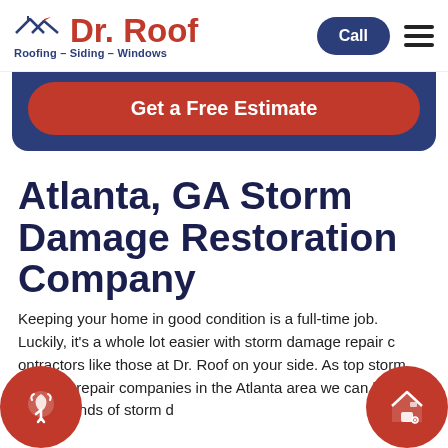Dr. Roof – Roofing – Siding – Windows
[Figure (screenshot): Website screenshot showing Dr. Roof logo with roofline graphic, Call button and hamburger menu on right, Get a Free Estimate red button on blue background, and page title Atlanta, GA Storm Damage Restoration Company with body text]
Atlanta, GA Storm Damage Restoration Company
Keeping your home in good condition is a full-time job. Luckily, it's a whole lot easier with storm damage repair contractors like those at Dr. Roof on your side. As top storm damage repair companies in the Atlanta area...